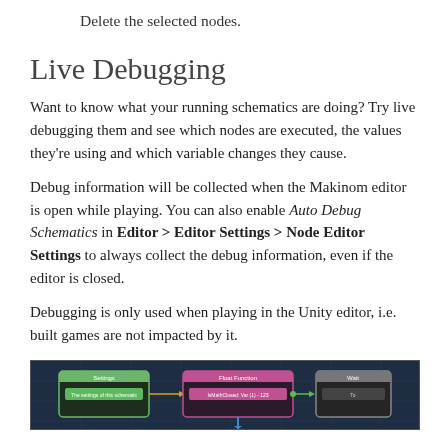Delete the selected nodes.
Live Debugging
Want to know what your running schematics are doing? Try live debugging them and see which nodes are executed, the values they’re using and which variable changes they cause.
Debug information will be collected when the Makinom editor is open while playing. You can also enable Auto Debug Schematics in Editor > Editor Settings > Node Editor Settings to always collect the debug information, even if the editor is closed.
Debugging is only used when playing in the Unity editor, i.e. built games are not impacted by it.
[Figure (screenshot): Screenshot of a node editor schematic showing three connected nodes: Settings (green), Float Function (pink/magenta), and Wait (gray), connected by colored lines on a dark blue grid background.]